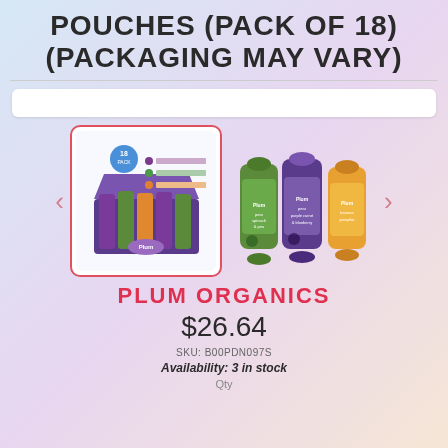POUCHES (PACK OF 18) (PACKAGING MAY VARY)
[Figure (photo): Box of 18 Plum Organics baby food pouches - multi-flavor pack with purple branding]
[Figure (photo): Three individual Plum Organics baby food pouches showing different flavors]
PLUM ORGANICS
$26.64
SKU: B00PDN097S
Availability: 3 in stock
Qty